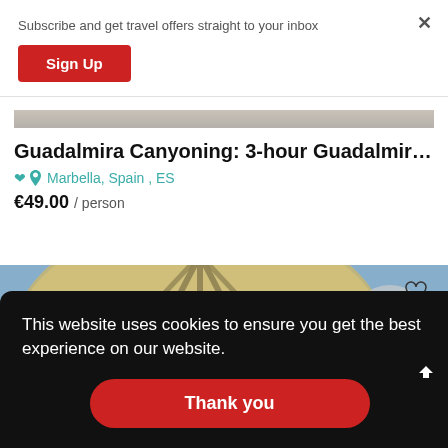Subscribe and get travel offers straight to your inbox
Sign Up
Guadalmira Canyoning: 3-hour Guadalmira Gorge Can…
Marbella, Spain , ES
€49.00 / person
[Figure (photo): Photo of hot air balloon or similar travel activity, partially visible]
This website uses cookies to ensure you get the best experience on our website.
Thank you